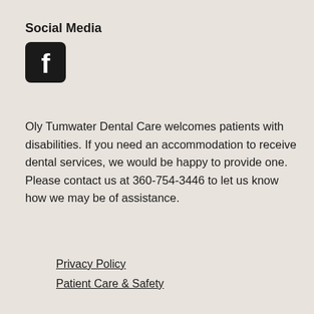Social Media
[Figure (logo): Facebook icon - rounded square with white 'f' letter on dark background]
Oly Tumwater Dental Care welcomes patients with disabilities. If you need an accommodation to receive dental services, we would be happy to provide one. Please contact us at 360-754-3446 to let us know how we may be of assistance.
Privacy Policy
Patient Care & Safety